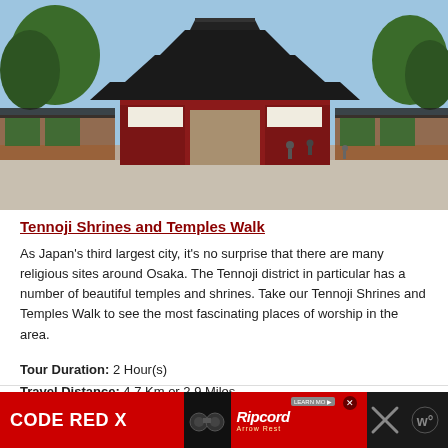[Figure (photo): A Japanese temple gate (torii-style entrance) with traditional multi-tiered red and black pagoda roofing, people walking in a courtyard, trees visible on both sides, blue sky background. Tennoji area, Osaka, Japan.]
Tennoji Shrines and Temples Walk
As Japan's third largest city, it's no surprise that there are many religious sites around Osaka. The Tennoji district in particular has a number of beautiful temples and shrines. Take our Tennoji Shrines and Temples Walk to see the most fascinating places of worship in the area.
Tour Duration: 2 Hour(s)
Travel Distance: 4.7 Km or 2.9 Miles
[Figure (other): Advertisement banner: black background with red section showing 'CODE RED X' text in white, binoculars, and Ripcord Arrow Rest logo in red italic script. Learn More button and close buttons visible.]